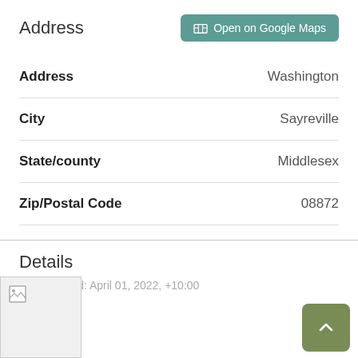Address
| Field | Value |
| --- | --- |
| Address | Washington |
| City | Sayreville |
| State/county | Middlesex |
| Zip/Postal Code | 08872 |
Details
Last updated: April 01, 2022, +10:00